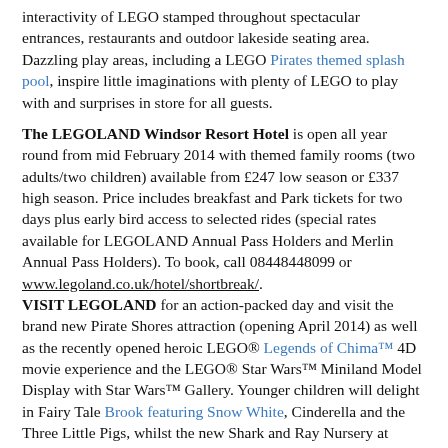interactivity of LEGO stamped throughout spectacular entrances, restaurants and outdoor lakeside seating area. Dazzling play areas, including a LEGO Pirates themed splash pool, inspire little imaginations with plenty of LEGO to play with and surprises in store for all guests.
The LEGOLAND Windsor Resort Hotel is open all year round from mid February 2014 with themed family rooms (two adults/two children) available from £247 low season or £337 high season. Price includes breakfast and Park tickets for two days plus early bird access to selected rides (special rates available for LEGOLAND Annual Pass Holders and Merlin Annual Pass Holders). To book, call 08448448099 or www.legoland.co.uk/hotel/shortbreak/.
VISIT LEGOLAND for an action-packed day and visit the brand new Pirate Shores attraction (opening April 2014) as well as the recently opened heroic LEGO® Legends of Chima™ 4D movie experience and the LEGO® Star Wars™ Miniland Model Display with Star Wars™ Gallery. Younger children will delight in Fairy Tale Brook featuring Snow White, Cinderella and the Three Little Pigs, whilst the new Shark and Ray Nursery at Atlantis Submarine Voyage shows off some very special new arrivals. PLUS the greatly anticipated DUPLO® Valley is now open – a pre-school paradise of splash-tastic play.
LEGOLAND opens for the new season on Friday 14th March